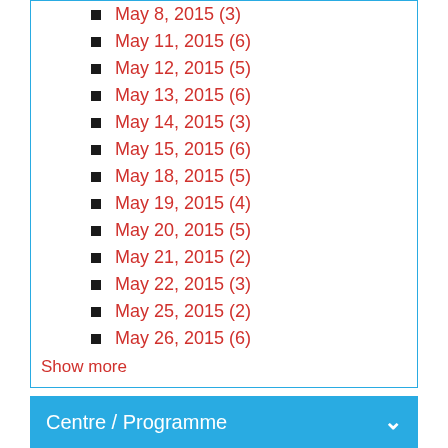May 8, 2015 (3)
May 11, 2015 (6)
May 12, 2015 (5)
May 13, 2015 (6)
May 14, 2015 (3)
May 15, 2015 (6)
May 18, 2015 (5)
May 19, 2015 (4)
May 20, 2015 (5)
May 21, 2015 (2)
May 22, 2015 (3)
May 25, 2015 (2)
May 26, 2015 (6)
Show more
Centre / Programme